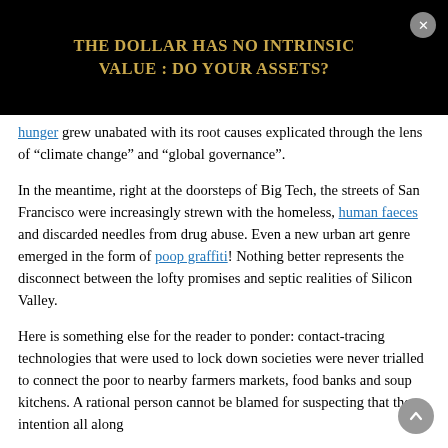THE DOLLAR HAS NO INTRINSIC VALUE : DO YOUR ASSETS?
hunger grew unabated with its root causes explicated through the lens of “climate change” and “global governance”.
In the meantime, right at the doorsteps of Big Tech, the streets of San Francisco were increasingly strewn with the homeless, human faeces and discarded needles from drug abuse. Even a new urban art genre emerged in the form of poop graffiti! Nothing better represents the disconnect between the lofty promises and septic realities of Silicon Valley.
Here is something else for the reader to ponder: contact-tracing technologies that were used to lock down societies were never trialled to connect the poor to nearby farmers markets, food banks and soup kitchens. A rational person cannot be blamed for suspecting that the intention all along was to remain in control of food for power and to deny...